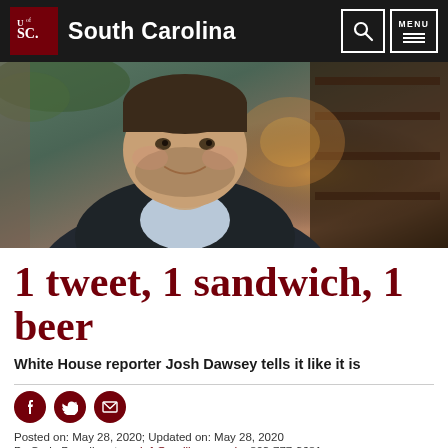University of South Carolina
[Figure (photo): Portrait photo of Josh Dawsey, a young heavyset man with a short beard wearing a dark blazer and light blue shirt, smiling slightly, with a warm bokeh restaurant/bar background]
1 tweet, 1 sandwich, 1 beer
White House reporter Josh Dawsey tells it like it is
Posted on: May 28, 2020; Updated on: May 28, 2020
By Craig Brandhorst, craig1@mailbox.sc.edu; 803-777-3681